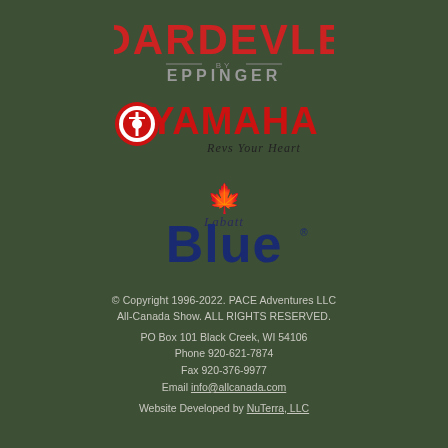[Figure (logo): Dardevle by Eppinger logo — bold red distressed lettering 'DARDEVLE' with 'by EPPINGER' below]
[Figure (logo): Yamaha logo with red tuning fork emblem and text 'YAMAHA' in red and 'Revs Your Heart' tagline in dark script]
[Figure (logo): Labatt Blue logo with red maple leaf and blue text 'Blue' with 'Labatt' script above]
© Copyright 1996-2022. PACE Adventures LLC All-Canada Show. ALL RIGHTS RESERVED.
PO Box 101 Black Creek, WI 54106
Phone 920-621-7874
Fax 920-376-9977
Email info@allcanada.com
Website Developed by NuTerra, LLC